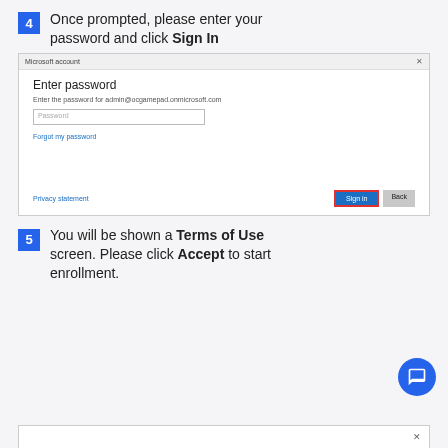4  Once prompted, please enter your password and click Sign In
[Figure (screenshot): Microsoft account dialog showing 'Enter password' prompt with password input field, 'Forgot my password' link, 'Privacy statement' link, and 'Sign in' button (highlighted with red border) and 'Back' button]
5  You will be shown a Terms of Use screen. Please click Accept to start enrollment.
[Figure (screenshot): Partial bottom of a dialog box with an X close button visible]